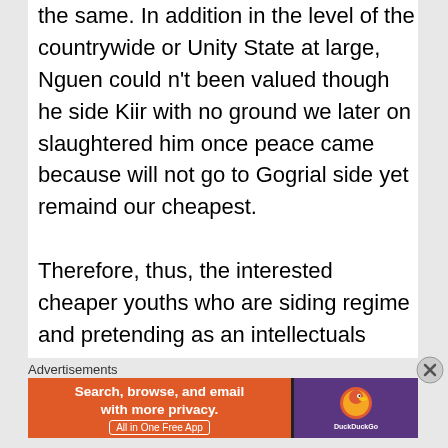the same. In addition in the level of the countrywide or Unity State at large, Nguen could n't been valued though he side Kiir with no ground we later on slaughtered him once peace came because will not go to Gogrial side yet remaind our cheapest.

Therefore, thus, the interested cheaper youths who are siding regime and pretending as an intellectuals educated once your time is coming please where you a elliptic on all Chase admitted. Ironically regretted to side your beloved sons, daughters, women and men being miserably
Advertisements
[Figure (other): DuckDuckGo advertisement banner: 'Search, browse, and email with more privacy. All in One Free App' with DuckDuckGo logo on dark purple background.]